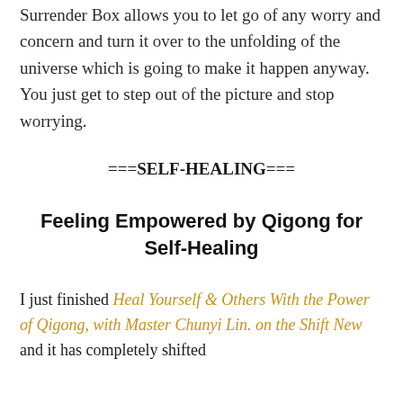Surrender Box allows you to let go of any worry and concern and turn it over to the unfolding of the universe which is going to make it happen anyway. You just get to step out of the picture and stop worrying.
===SELF-HEALING===
Feeling Empowered by Qigong for Self-Healing
I just finished Heal Yourself & Others With the Power of Qigong, with Master Chunyi Lin. on the Shift New and it has completely shifted